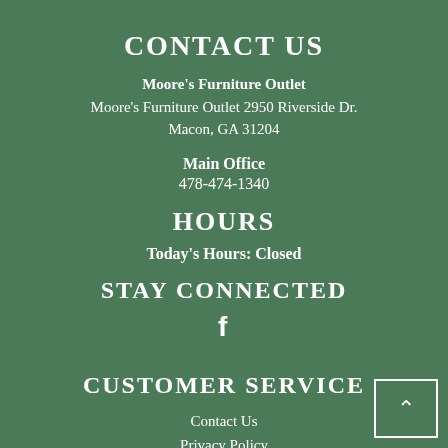CONTACT US
Moore's Furniture Outlet
Moore's Furniture Outlet 2950 Riverside Dr. Macon, GA 31204
Main Office
478-474-1340
HOURS
Today's Hours: Closed
STAY CONNECTED
[Figure (illustration): Facebook social media icon (letter f)]
CUSTOMER SERVICE
Contact Us
Privacy Policy
Terms of Service
Accessibility